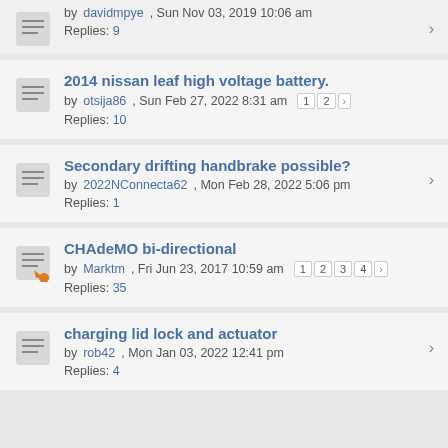by davidmpye, Sun Nov 03, 2019 10:06 am · Replies: 9
2014 nissan leaf high voltage battery. by otsija86, Sun Feb 27, 2022 8:31 am · Replies: 10
Secondary drifting handbrake possible? by 2022NConnecta62, Mon Feb 28, 2022 5:06 pm · Replies: 1
CHAdeMO bi-directional by Marktm, Fri Jun 23, 2017 10:59 am · Replies: 35
charging lid lock and actuator by rob42, Mon Jan 03, 2022 12:41 pm · Replies: 4